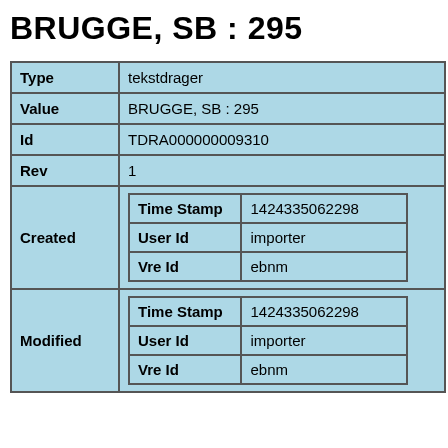BRUGGE, SB : 295
| Field | Value |
| --- | --- |
| Type | tekstdrager |
| Value | BRUGGE, SB : 295 |
| Id | TDRA000000009310 |
| Rev | 1 |
| Created | Time Stamp: 1424335062298 | User Id: importer | Vre Id: ebnm |
| Modified | Time Stamp: 1424335062298 | User Id: importer | Vre Id: ebnm |